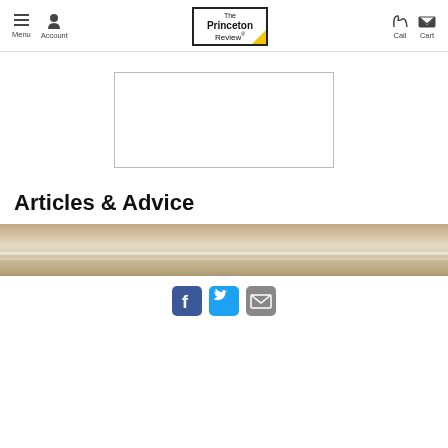The Princeton Review — Menu, Account, Call, Cart navigation bar
[Figure (other): Empty advertisement placeholder box with thin border]
Articles & Advice
[Figure (photo): Blurred beige/tan horizontal photo strip, appears to show office or library environment]
[Figure (other): Social sharing icons row: Facebook (blue), Twitter (cyan), Email (gray)]